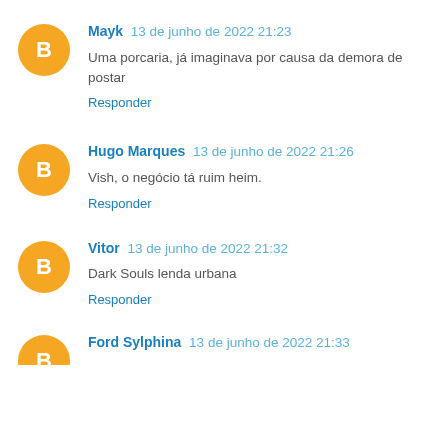Mayk 13 de junho de 2022 21:23
Uma porcaria, já imaginava por causa da demora de postar
Responder
Hugo Marques 13 de junho de 2022 21:26
Vish, o negócio tá ruim heim.
Responder
Vitor 13 de junho de 2022 21:32
Dark Souls lenda urbana
Responder
Ford Sylphina 13 de junho de 2022 21:33